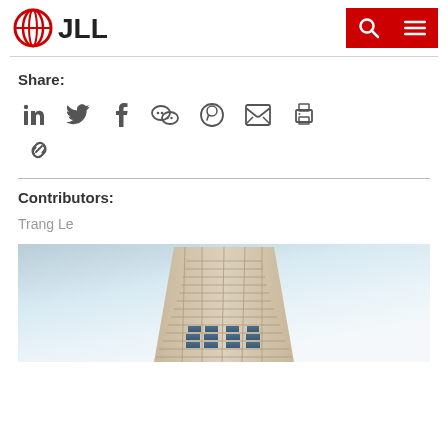JLL
Share:
[Figure (other): Social sharing icons: LinkedIn, Twitter, Facebook, WeChat, WhatsApp, Email, Print, and a chain/link icon]
Contributors:
Trang Le
[Figure (photo): Low-angle view of a modern glass office building facade against a light blue sky]